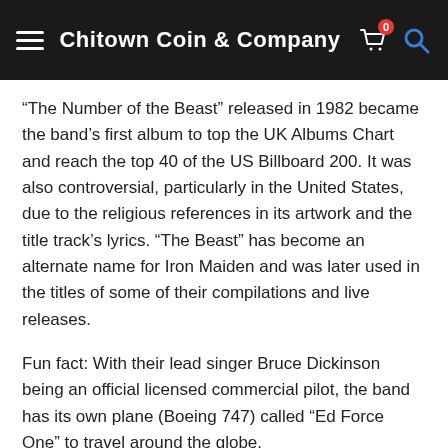Chitown Coin & Company
“The Number of the Beast” released in 1982 became the band’s first album to top the UK Albums Chart and reach the top 40 of the US Billboard 200. It was also controversial, particularly in the United States, due to the religious references in its artwork and the title track’s lyrics. “The Beast” has become an alternate name for Iron Maiden and was later used in the titles of some of their compilations and live releases.
Fun fact: With their lead singer Bruce Dickinson being an official licensed commercial pilot, the band has its own plane (Boeing 747) called “Ed Force One” to travel around the globe.
This 1 oz silver piece features the original album cover.